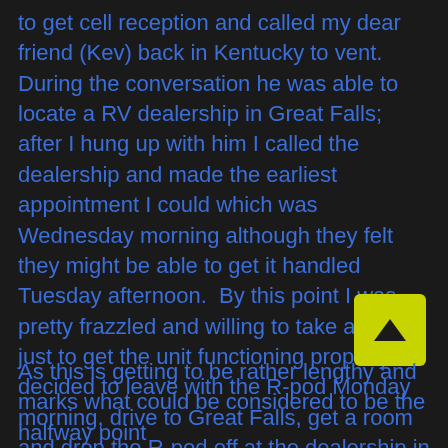to get cell reception and called my dear friend (Kev) back in Kentucky to vent.  During the conversation he was able to locate a RV dealership in Great Falls; after I hung up with him I called the dealership and made the earliest appointment I could which was Wednesday morning although they felt they might be able to get it handled Tuesday afternoon.  By this point I was pretty frazzled and willing to take anything just to get the unit functioning properly.  I decided to leave with the R-pod Monday morning, drive to Great Falls, get a room and drop the R-pod off at the dealership in hopes it would be repaired and ready to go by Wednesday.
[Figure (other): Yellow square button with upward arrow (back to top navigation button)]
As this is getting to be rather lengthy and marks what could be considered to be the halfway point